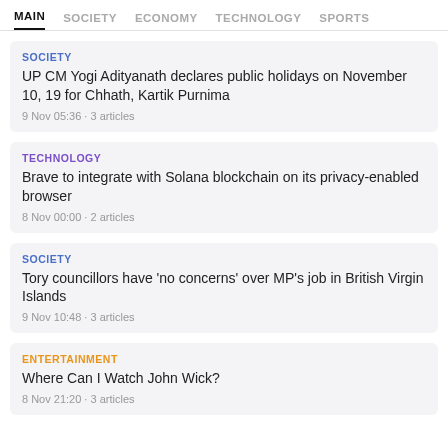MAIN  SOCIETY  ECONOMY  TECHNOLOGY  SPORTS
SOCIETY
UP CM Yogi Adityanath declares public holidays on November 10, 19 for Chhath, Kartik Purnima
9 Nov 05:36 · 3 articles
TECHNOLOGY
Brave to integrate with Solana blockchain on its privacy-enabled browser
8 Nov 00:00 · 2 articles
SOCIETY
Tory councillors have 'no concerns' over MP's job in British Virgin Islands
9 Nov 10:48 · 3 articles
ENTERTAINMENT
Where Can I Watch John Wick?
8 Nov 21:20 · 3 articles